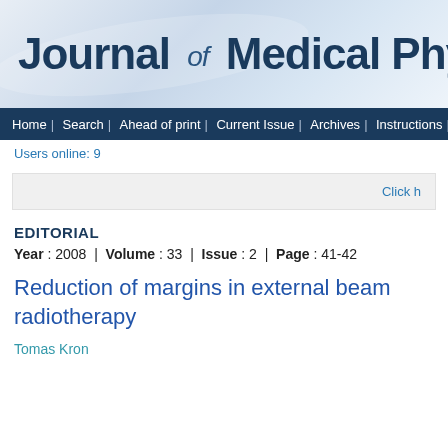[Figure (logo): Journal of Medical Physics banner header with gradient blue background]
Home | Search | Ahead of print | Current Issue | Archives | Instructions | Subscriptio...
Users online: 9
Click h...
EDITORIAL
Year : 2008 | Volume : 33 | Issue : 2 | Page : 41-42
Reduction of margins in external beam radiotherapy
Tomas Kron